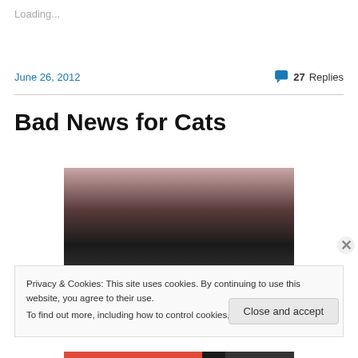Loading...
June 26, 2012
27 Replies
Bad News for Cats
[Figure (photo): A black and white cat lying down, photographed from the side, on a pinkish background. The cat's dark fur is prominent with some white markings visible.]
Privacy & Cookies: This site uses cookies. By continuing to use this website, you agree to their use.
To find out more, including how to control cookies, see here: Cookie Policy
Close and accept